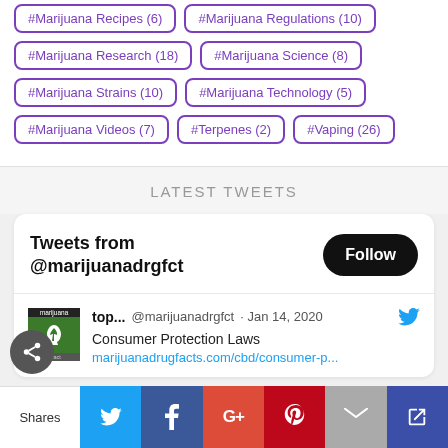#Marijuana Recipes (6)
#Marijuana Regulations (10)
#Marijuana Research (18)
#Marijuana Science (8)
#Marijuana Strains (10)
#Marijuana Technology (5)
#Marijuana Videos (7)
#Terpenes (2)
#Vaping (26)
LATEST TWEETS
Tweets from @marijuanadrgfct
top... @marijuanadrgfct · Jan 14, 2020
Consumer Protection Laws
marijuanadrugfacts.com/cbd/consumer-p...